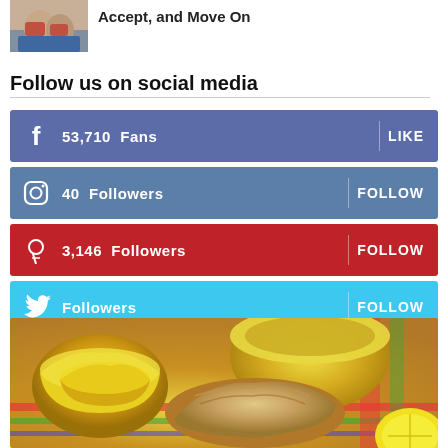[Figure (photo): Thumbnail image of children sitting on floor, used as article thumbnail]
Accept, and Move On
Follow us on social media
[Figure (infographic): Social media follow buttons: Facebook 53,710 Fans LIKE; Instagram 40 Followers FOLLOW; Pinterest 3,146 Followers FOLLOW; Twitter Followers FOLLOW]
[Figure (photo): Food photo showing yellow ceramic bowls and baked goods on a colorful checkered cloth]